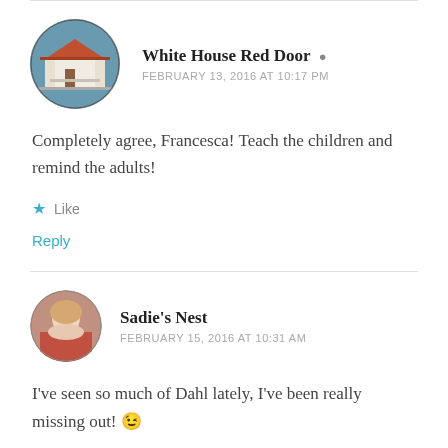White House Red Door  [user icon]
FEBRUARY 13, 2016 AT 10:17 PM
Completely agree, Francesca! Teach the children and remind the adults!
Like
Reply
Sadie's Nest
FEBRUARY 15, 2016 AT 10:31 AM
I've seen so much of Dahl lately, I've been really missing out! 😉